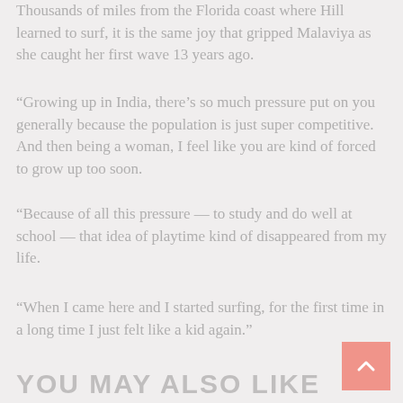Thousands of miles from the Florida coast where Hill learned to surf, it is the same joy that gripped Malaviya as she caught her first wave 13 years ago.
“Growing up in India, there’s so much pressure put on you generally because the population is just super competitive. And then being a woman, I feel like you are kind of forced to grow up too soon.
“Because of all this pressure — to study and do well at school — that idea of playtime kind of disappeared from my life.
“When I came here and I started surfing, for the first time in a long time I just felt like a kid again.”
YOU MAY ALSO LIKE